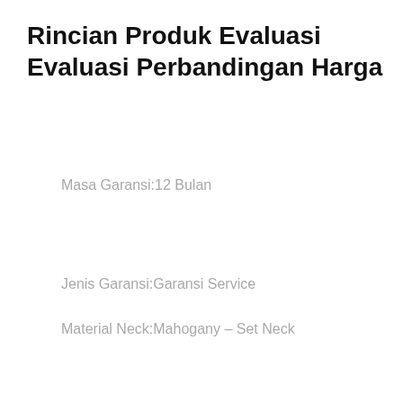Rincian Produk Evaluasi Evaluasi Perbandingan Harga
Masa Garansi:12 Bulan
Jenis Garansi:Garansi Service
Material Neck:Mahogany – Set Neck
Alat Musik Tradisional:Tidak